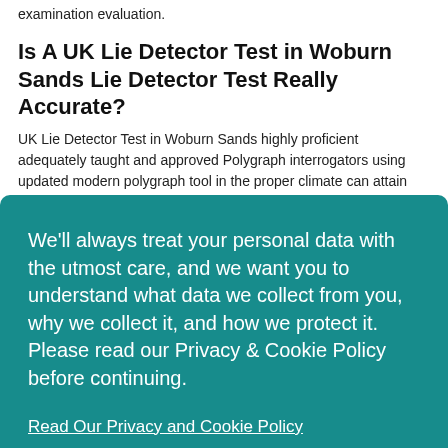examination evaluation.
Is A UK Lie Detector Test in Woburn Sands Lie Detector Test Really Accurate?
UK Lie Detector Test in Woburn Sands highly proficient adequately taught and approved Polygraph interrogators using updated modern polygraph tool in the proper climate can attain
We'll always treat your personal data with the utmost care, and we want you to understand what data we collect from you, why we collect it, and how we protect it. Please read our Privacy & Cookie Policy before continuing.
Read Our Privacy and Cookie Policy
Decline
Accept